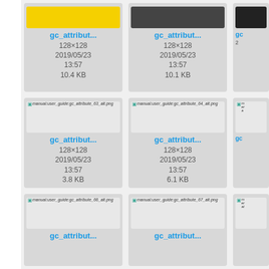[Figure (screenshot): File browser grid showing image thumbnails for gc_attribute PNG files. Row 1: gc_attribut... (128x128, 2019/05/23 13:57, 10.4 KB) with yellow thumbnail, gc_attribut... (128x128, 2019/05/23 13:57, 10.1 KB) with dark thumbnail, partial third card. Row 2: manual:user_guide:gc_attribute_63_alt.png -> gc_attribut... (128x128, 2019/05/23 13:57, 3.8 KB), manual:user_guide:gc_attribute_64_alt.png -> gc_attribut... (128x128, 2019/05/23 13:57, 6.1 KB), partial third. Row 3: manual:user_guide:gc_attribute_66_alt.png, manual:user_guide:gc_attribute_67_alt.png, partial third (cut off).]